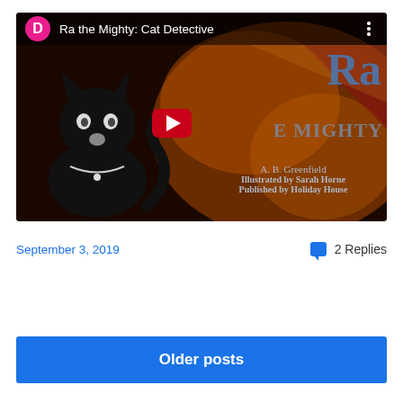[Figure (screenshot): YouTube video thumbnail for 'Ra the Mighty: Cat Detective' showing a black cat illustration with text overlay including author A. B. Greenfield, illustrated by Sarah Horne, published by Holiday House. Has a user avatar circle with letter D, video title bar, and YouTube play button.]
September 3, 2019
2 Replies
Older posts